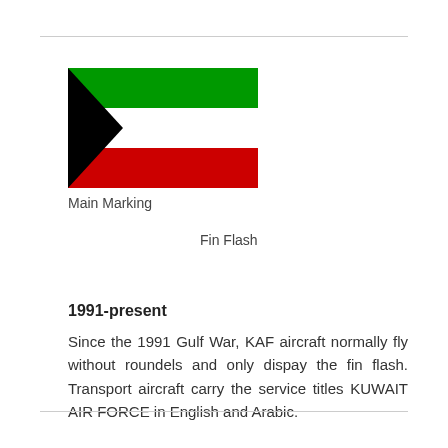[Figure (illustration): Kuwait flag showing black trapezoid on the left, with three horizontal stripes: green on top, white in the middle, red on the bottom.]
Main Marking
Fin Flash
1991-present
Since the 1991 Gulf War, KAF aircraft normally fly without roundels and only dispay the fin flash. Transport aircraft carry the service titles KUWAIT AIR FORCE in English and Arabic.